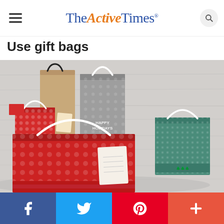TheActiveTimes
Use gift bags
[Figure (photo): Multiple colorful Christmas gift bags arranged together against a white rustic wood background. Bags include red with polka dots, kraft brown, grey with snowflake pattern, teal/green, and a large red with white dots bag in front.]
Facebook | Twitter | Pinterest | More